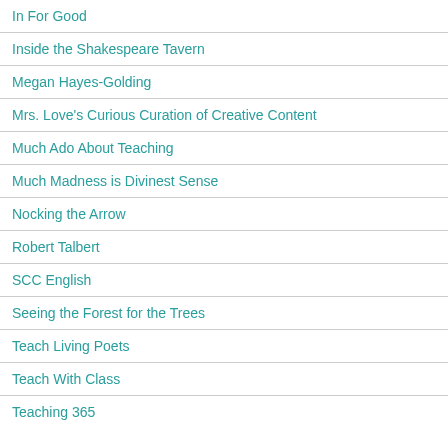In For Good
Inside the Shakespeare Tavern
Megan Hayes-Golding
Mrs. Love's Curious Curation of Creative Content
Much Ado About Teaching
Much Madness is Divinest Sense
Nocking the Arrow
Robert Talbert
SCC English
Seeing the Forest for the Trees
Teach Living Poets
Teach With Class
Teaching 365